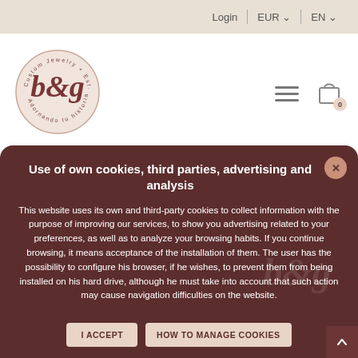Login | EUR ▾ | EN ▾
[Figure (logo): B&G Customs Jewelry circular logo, Est. 2009]
Use of own cookies, third parties, advertising and analysis
This website uses its own and third-party cookies to collect information with the purpose of improving our services, to show you advertising related to your preferences, as well as to analyze your browsing habits. If you continue browsing, it means acceptance of the installation of them. The user has the possibility to configure his browser, if he wishes, to prevent them from being installed on his hard drive, although he must take into account that such action may cause navigation difficulties on the website.
I ACCEPT
HOW TO MANAGE COOKIES